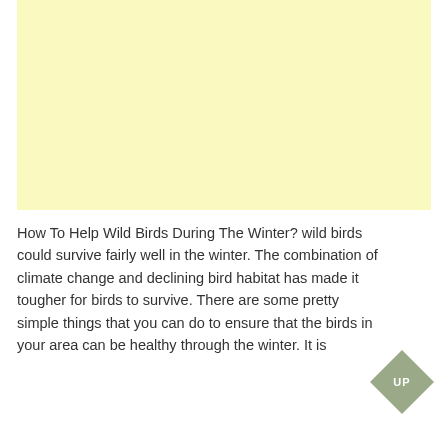[Figure (other): Light yellow rectangular advertisement block]
How To Help Wild Birds During The Winter? wild birds could survive fairly well in the winter. The combination of climate change and declining bird habitat has made it tougher for birds to survive. There are some pretty simple things that you can do to ensure that the birds in your area can be healthy through the winter. It is
[Figure (other): Diamond-shaped sage green UP button/badge]